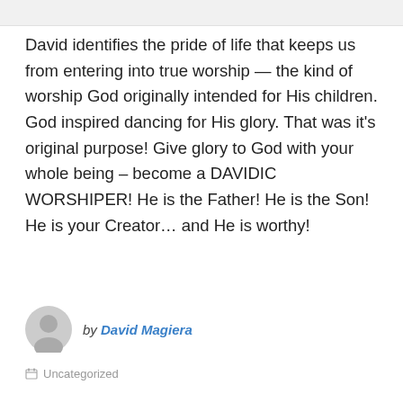David identifies the pride of life that keeps us from entering into true worship — the kind of worship God originally intended for His children. God inspired dancing for His glory. That was it's original purpose! Give glory to God with your whole being – become a DAVIDIC WORSHIPER! He is the Father! He is the Son! He is your Creator… and He is worthy!
by David Magiera
Uncategorized